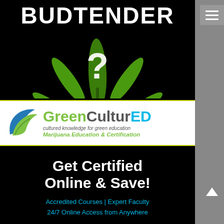BUDTENDER
[Figure (illustration): Cannabis/marijuana leaf in green with a white question mark overlaid on top, on a black background]
[Figure (logo): GreenCulturED logo with blue/green leaf icon. Text reads: GreenCulturED - cultured knowledge for green education - Marijuana Education & Certification]
Get Certified Online & Save!
Accredited Courses | Expert Faculty
24/7 Online Access from Anywhere